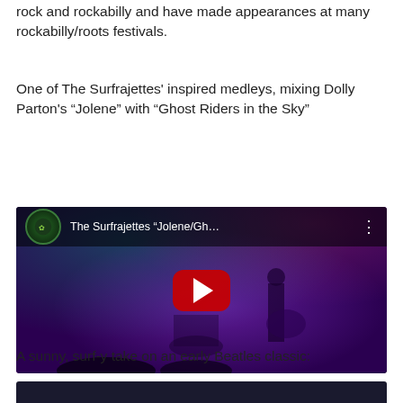rock and rockabilly and have made appearances at many rockabilly/roots festivals.
One of The Surfrajettes' inspired medleys, mixing Dolly Parton's “Jolene” with “Ghost Riders in the Sky”
[Figure (screenshot): YouTube video thumbnail showing The Surfrajettes performing on stage. Title bar reads: The Surfrajettes “Jolene/Gh… with a play button overlay. Stage has purple lighting with a performer playing guitar.]
A sunny, surf-y take on an early Beatles classic:
[Figure (screenshot): Partial bottom thumbnail of another YouTube video, dark background.]